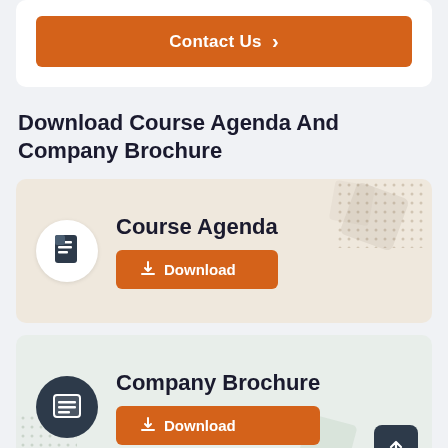[Figure (screenshot): Orange 'Contact Us' button with right arrow on white card background]
Download Course Agenda And Company Brochure
[Figure (infographic): Course Agenda download card with document icon and orange Download button on beige background]
[Figure (infographic): Company Brochure download card with book icon and orange Download button on light green background]